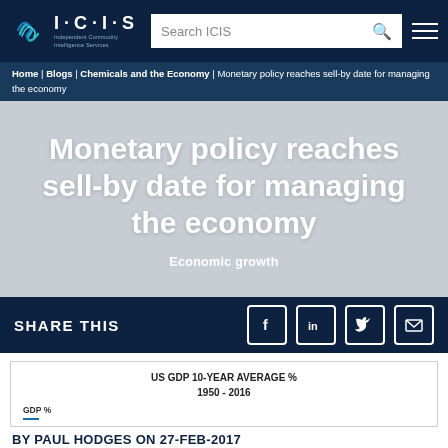[Figure (logo): ICIS - Independent Commodity Intelligence Services logo with search bar and hamburger menu]
Home | Blogs | Chemicals and the Economy | Monetary policy reaches sell-by date for managing the economy
Monetary policy reaches sell-by date for managing the economy
Economic growth
SHARE THIS
[Figure (infographic): Social share icons: Facebook, LinkedIn, Twitter, Email]
US GDP 10-YEAR AVERAGE %
1950 - 2016
GDP %
BY PAUL HODGES ON 27-FEB-2017